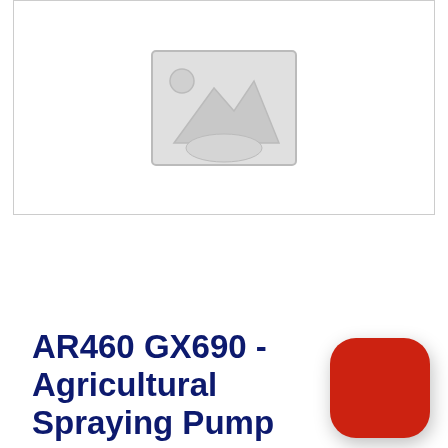[Figure (illustration): Placeholder image box with mountain/image icon in gray, indicating a missing or loading product photo]
AR460 GX690 - Agricultural Spraying Pump